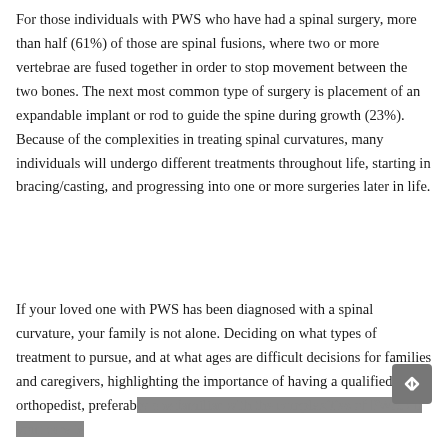For those individuals with PWS who have had a spinal surgery, more than half (61%) of those are spinal fusions, where two or more vertebrae are fused together in order to stop movement between the two bones. The next most common type of surgery is placement of an expandable implant or rod to guide the spine during growth (23%). Because of the complexities in treating spinal curvatures, many individuals will undergo different treatments throughout life, starting in bracing/casting, and progressing into one or more surgeries later in life.
If your loved one with PWS has been diagnosed with a spinal curvature, your family is not alone. Deciding on what types of treatment to pursue, and at what ages are difficult decisions for families and caregivers, highlighting the importance of having a qualified orthopedist, preferably one familiar with the complexities of PWS, on your care te...